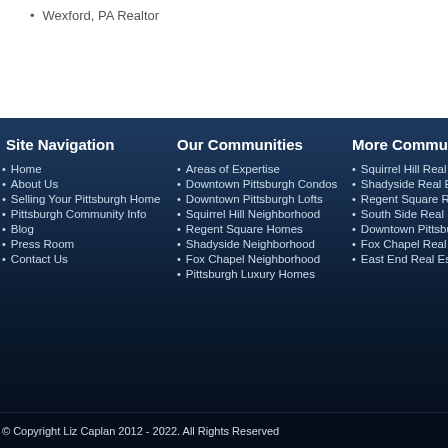Wexford, PA Realtor
Site Navigation
Home
About Us
Selling Your Pittsburgh Home
Pittsburgh Community Info
Blog
Press Room
Contact Us
Our Communities
Areas of Expertise
Downtown Pittsburgh Condos
Downtown Pittsburgh Lofts
Squirrel Hill Neighborhood
Regent Square Homes
Shadyside Neighborhood
Fox Chapel Neighborhood
Pittsburgh Luxury Homes
More Commu...
Squirrel Hill Real E...
Shadyside Real Es...
Regent Square Re...
South Side Real E...
Downtown Pittsbur...
Fox Chapel Real E...
East End Real Est...
© Copyright Liz Caplan 2012 - 2022. All Rights Reserved